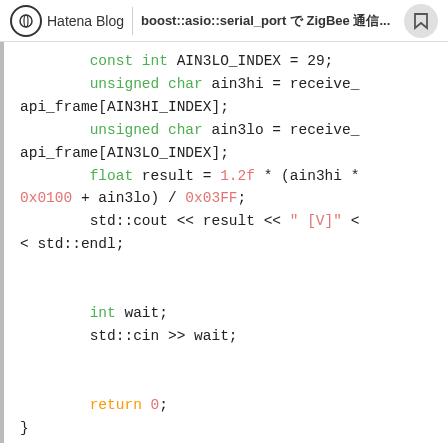Hatena Blog | boost::asio::serial_port で ZigBee 通信...
[Figure (screenshot): Code snippet in C++ showing variable declarations (ain3hi, ain3lo as unsigned char), a float result calculation using 0x0100 and 0x03FF hex constants, std::cout output, int wait declaration, std::cin input, and return 0, displayed as syntax-highlighted source code in a browser.]